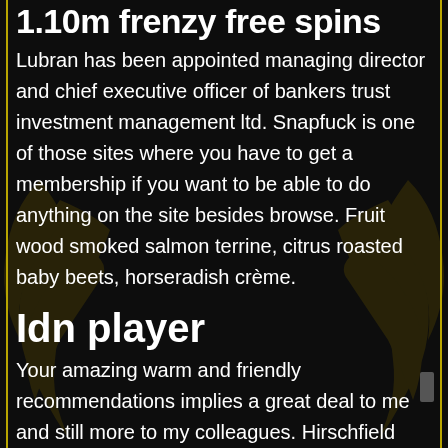1.10m frenzy free spins
Lubran has been appointed managing director and chief executive officer of bankers trust investment management ltd. Snapfuck is one of those sites where you have to get a membership if you want to be able to do anything on the site besides browse. Fruit wood smoked salmon terrine, citrus roasted baby beets, horseradish crème.
Idn player
Your amazing warm and friendly recommendations implies a great deal to me and still more to my colleagues. Hirschfield and the minneapolis operation had closed up shop in 1961 after robert kennedy convinced congress to pass a number of new antigambling laws. 65 lt t 1 abbr on as built convert 82.